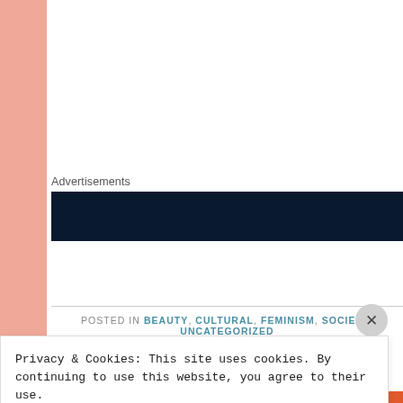Advertisements
[Figure (other): Dark navy blue advertisement banner]
POSTED IN BEAUTY, CULTURAL, FEMINISM, SOCIETY, UNCATEGORIZED
Privacy & Cookies: This site uses cookies. By continuing to use this website, you agree to their use.
To find out more, including how to control cookies, see here: Cookie Policy
Close and accept